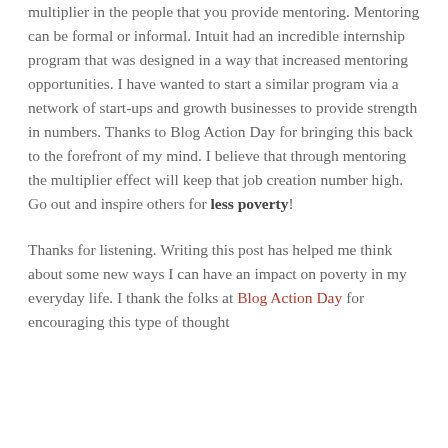multiplier in the people that you provide mentoring. Mentoring can be formal or informal. Intuit had an incredible internship program that was designed in a way that increased mentoring opportunities. I have wanted to start a similar program via a network of start-ups and growth businesses to provide strength in numbers. Thanks to Blog Action Day for bringing this back to the forefront of my mind. I believe that through mentoring the multiplier effect will keep that job creation number high. Go out and inspire others for less poverty!
Thanks for listening. Writing this post has helped me think about some new ways I can have an impact on poverty in my everyday life. I thank the folks at Blog Action Day for encouraging this type of thought